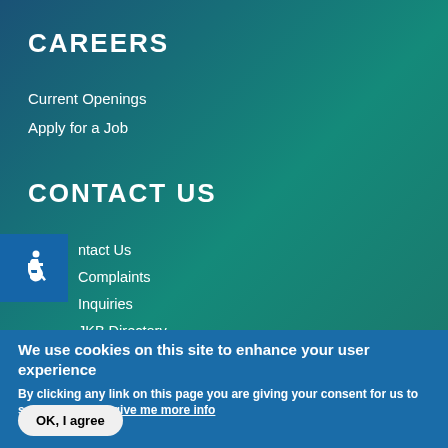CAREERS
Current Openings
Apply for a Job
CONTACT US
[Figure (illustration): Wheelchair accessibility icon in blue square]
Contact Us
Complaints
Inquiries
JKB Directory
Update Account Details
We use cookies on this site to enhance your user experience
By clicking any link on this page you are giving your consent for us to set cookies. No, give me more info
OK, I agree